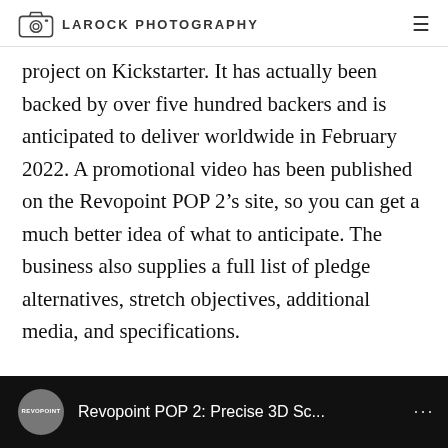LAROCK PHOTOGRAPHY
project on Kickstarter. It has actually been backed by over five hundred backers and is anticipated to deliver worldwide in February 2022. A promotional video has been published on the Revopoint POP 2’s site, so you can get a much better idea of what to anticipate. The business also supplies a full list of pledge alternatives, stretch objectives, additional media, and specifications.
[Figure (screenshot): YouTube-style video thumbnail showing Revopoint POP 2: Precise 3D Sc... with Revopoint logo circle and three-dot menu icon on dark background]